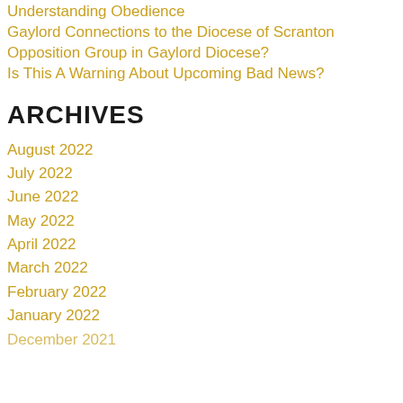Understanding Obedience
Gaylord Connections to the Diocese of Scranton
Opposition Group in Gaylord Diocese?
Is This A Warning About Upcoming Bad News?
ARCHIVES
August 2022
July 2022
June 2022
May 2022
April 2022
March 2022
February 2022
January 2022
December 2021